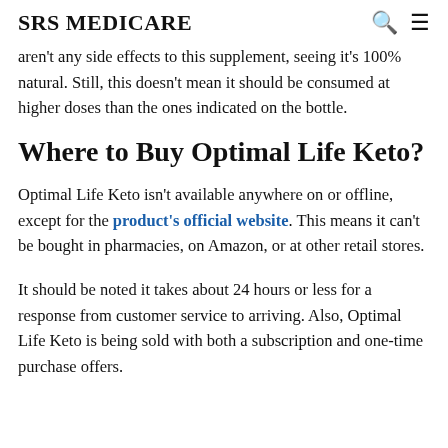SRS MEDICARE
aren't any side effects to this supplement, seeing it's 100% natural. Still, this doesn't mean it should be consumed at higher doses than the ones indicated on the bottle.
Where to Buy Optimal Life Keto?
Optimal Life Keto isn't available anywhere on or offline, except for the product's official website. This means it can't be bought in pharmacies, on Amazon, or at other retail stores.
It should be noted it takes about 24 hours or less for a response from customer service to arriving. Also, Optimal Life Keto is being sold with both a subscription and one-time purchase offers.